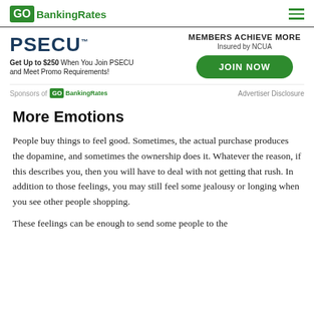GoBankingRates
[Figure (infographic): PSECU advertisement banner. Left side: PSECU logo in dark blue, text 'Get Up to $250 When You Join PSECU and Meet Promo Requirements!'. Right side: 'MEMBERS ACHIEVE MORE', 'Insured by NCUA', green 'JOIN NOW' button. Bottom: 'Sponsors of GoBankingRates' and 'Advertiser Disclosure'.]
More Emotions
People buy things to feel good. Sometimes, the actual purchase produces the dopamine, and sometimes the ownership does it. Whatever the reason, if this describes you, then you will have to deal with not getting that rush. In addition to those feelings, you may still feel some jealousy or longing when you see other people shopping.
These feelings can be enough to send some people to the